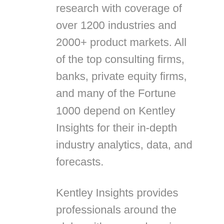research with coverage of over 1200 industries and 2000+ product markets. All of the top consulting firms, banks, private equity firms, and many of the Fortune 1000 depend on Kentley Insights for their in-depth industry analytics, data, and forecasts.
Kentley Insights provides professionals around the globe with comprehensive, timely, and data-driven market research reports. Our analysts know what professionals are looking for in industry market research, with backgrounds at McKinsey, Morgan Stanley, Oliver Wyman, and other leading companies.
100% MoneyBack Satisfaction